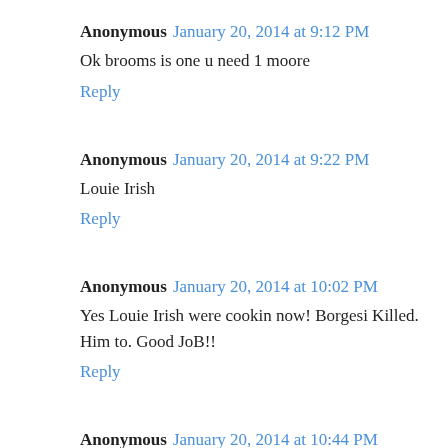Anonymous January 20, 2014 at 9:12 PM
Ok brooms is one u need 1 moore
Reply
Anonymous January 20, 2014 at 9:22 PM
Louie Irish
Reply
Anonymous January 20, 2014 at 10:02 PM
Yes Louie Irish were cookin now! Borgesi Killed. Him to. Good JoB!!
Reply
Anonymous January 20, 2014 at 10:44 PM